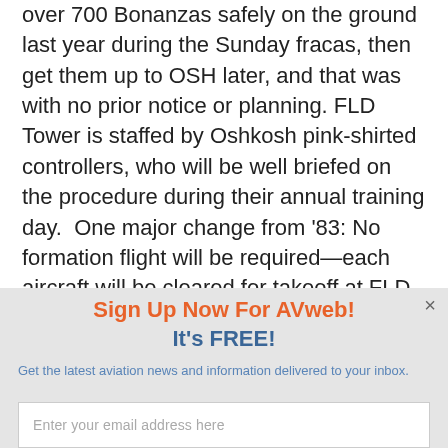over 700 Bonanzas safely on the ground last year during the Sunday fracas, then get them up to OSH later, and that was with no prior notice or planning. FLD Tower is staffed by Oshkosh pink-shirted controllers, who will be well briefed on the procedure during their annual training day.  One major change from '83: No formation flight will be required—each aircraft will be cleared for takeoff at FLD individually, in a manner similar to that used by the controllers next to the runways at OSH, using color and type if the N-number isn't known. OSH Tower will provide the procedures and will
Sign Up Now For AVweb!
It's FREE!
Get the latest aviation news and information delivered to your inbox.
Enter your email address here
Sign Me Up!